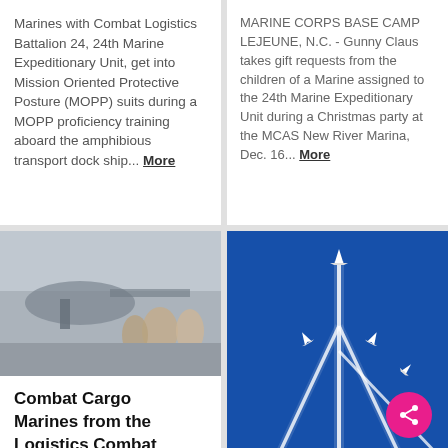Marines with Combat Logistics Battalion 24, 24th Marine Expeditionary Unit, get into Mission Oriented Protective Posture (MOPP) suits during a MOPP proficiency training aboard the amphibious transport dock ship... More
MARINE CORPS BASE CAMP LEJEUNE, N.C. - Gunny Claus takes gift requests from the children of a Marine assigned to the 24th Marine Expeditionary Unit during a Christmas party at the MCAS New River Marina, Dec. 16... More
[Figure (photo): Blurred photo of personnel near a military helicopter on a ship deck]
Combat Cargo Marines from the Logistics Combat El...
[Figure (photo): Blue sky with four military jets performing a formation aerial display with white contrail smoke trails diverging outward]